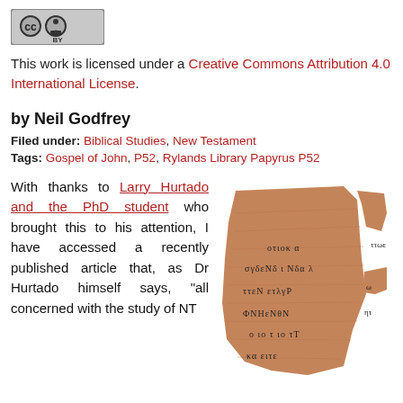[Figure (logo): Creative Commons Attribution license logo with CC and person icon circles]
This work is licensed under a Creative Commons Attribution 4.0 International License.
by Neil Godfrey
Filed under: Biblical Studies, New Testament
Tags: Gospel of John, P52, Rylands Library Papyrus P52
With thanks to Larry Hurtado and the PhD student who brought this to his attention, I have accessed a recently published article that, as Dr Hurtado himself says, “all concerned with the study of NT
[Figure (photo): Photograph of Rylands Library Papyrus P52, an ancient Greek papyrus fragment with handwritten Greek text]